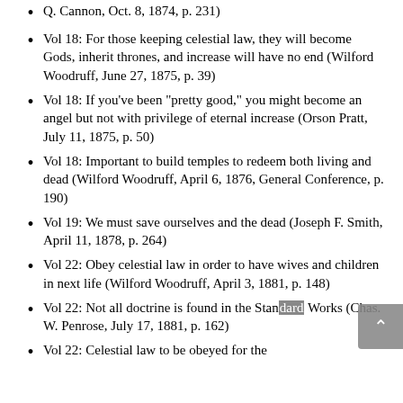Q. Cannon, Oct. 8, 1874, p. 231)
Vol 18: For those keeping celestial law, they will become Gods, inherit thrones, and increase will have no end (Wilford Woodruff, June 27, 1875, p. 39)
Vol 18: If you’ve been “pretty good,” you might become an angel but not with privilege of eternal increase (Orson Pratt, July 11, 1875, p. 50)
Vol 18: Important to build temples to redeem both living and dead (Wilford Woodruff, April 6, 1876, General Conference, p. 190)
Vol 19: We must save ourselves and the dead (Joseph F. Smith, April 11, 1878, p. 264)
Vol 22: Obey celestial law in order to have wives and children in next life (Wilford Woodruff, April 3, 1881, p. 148)
Vol 22: Not all doctrine is found in the Standard Works (Chas. W. Penrose, July 17, 1881, p. 162)
Vol 22: Celestial law to be obeyed for the